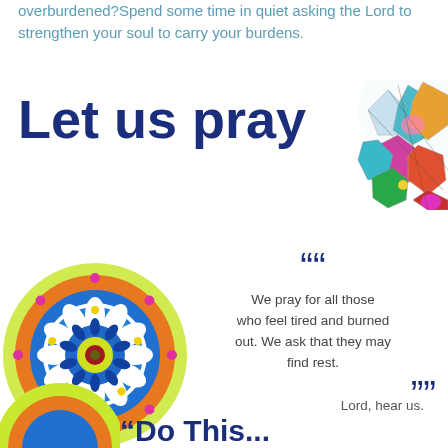overburdened?Spend some time in quiet asking the Lord to strengthen your soul to carry your burdens.
Let us pray
[Figure (illustration): Colorful mandala illustration in top right corner]
[Figure (illustration): Colorful mandala illustration on left side]
““ We pray for all those who feel tired and burned out. We ask that they may find rest. ””
Lord, hear us.
[Figure (illustration): Partial colorful mandala illustration at bottom left]
"Do This..."